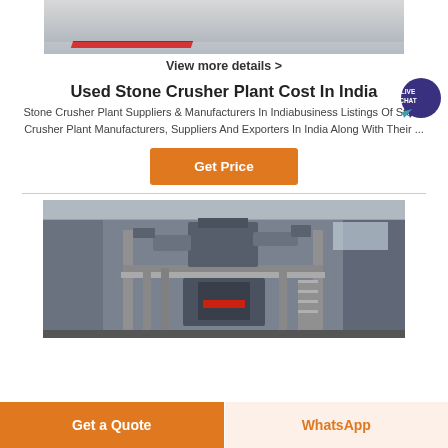[Figure (photo): Top portion of a stone crusher plant machinery photo, partially cropped, with a red diagonal stripe visible]
View more details >
Used Stone Crusher Plant Cost In India
Stone Crusher Plant Suppliers & Manufacturers In Indiabusiness Listings Of Stone Crusher Plant Manufacturers, Suppliers And Exporters In India Along With Their ...
[Figure (other): Live Chat bubble icon in blue/purple]
Get Price
[Figure (photo): Industrial stone crusher plant machinery inside a warehouse/factory building showing conveyors, hoppers, and steel framework]
Get a Quote
WhatsApp